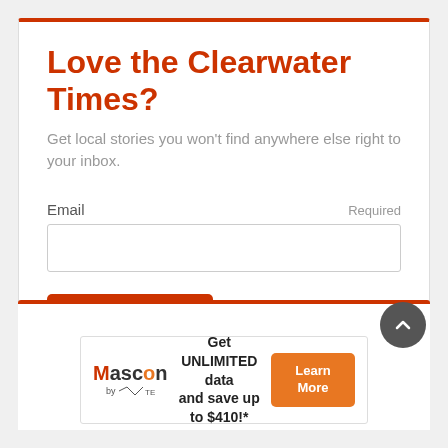Love the Clearwater Times?
Get local stories you won't find anywhere else right to your inbox.
Email  Required
[Figure (screenshot): Email input field and Subscribe button form]
[Figure (infographic): Mascon by TELUS advertisement banner: Get UNLIMITED data and save up to $410!* with Learn More button]